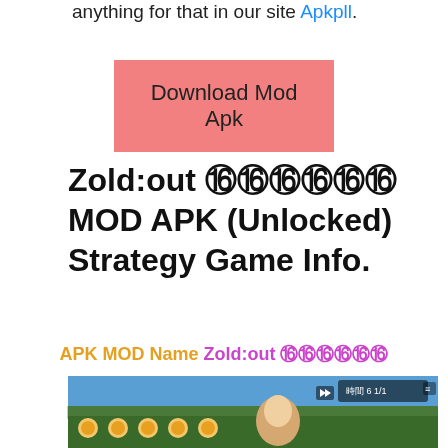anything for that in our site Apkpll.
Download Mod Apk
Zold:out 젤드아웃 MOD APK (Unlocked) Strategy Game Info.
APK MOD Name Zold:out 젤드아웃
APK MOD Strategy
PlayStore ID com.c4cat.weaponstore
[Figure (screenshot): Screenshot of Zold:out gameplay showing characters and game UI]